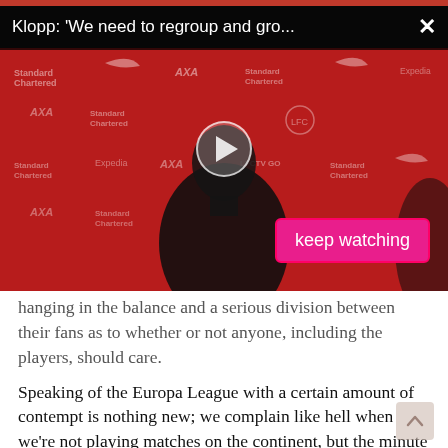[Figure (screenshot): A video player overlay showing Jurgen Klopp in front of a Liverpool FC sponsor backdrop (red background with Nike, Standard Chartered, AXA, Expedia logos). The video title bar reads "Klopp: 'We need to regroup and gro..." with an X close button. A play button triangle is visible in the center. A pink/magenta 'keep watching' button appears in the lower right of the video.]
hanging in the balance and a serious division between their fans as to whether or not anyone, including the players, should care.
Speaking of the Europa League with a certain amount of contempt is nothing new; we complain like hell when we're not playing matches on the continent, but the minute those matches start to become a bother, we're ready to pack the whole thing in. Then, if we do find ourselves on the outside looking in, it's the end of the world and a matter to be ashamed about.